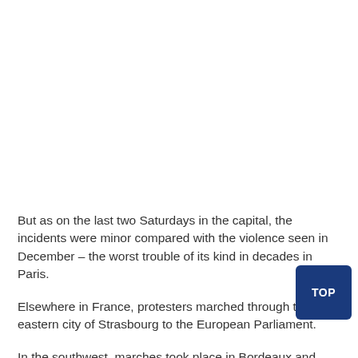But as on the last two Saturdays in the capital, the incidents were minor compared with the violence seen in December – the worst trouble of its kind in decades in Paris.
Elsewhere in France, protesters marched through the eastern city of Strasbourg to the European Parliament.
In the southwest, marches took place in Bordeaux and Toulouse, which have been focal points of the movement, while